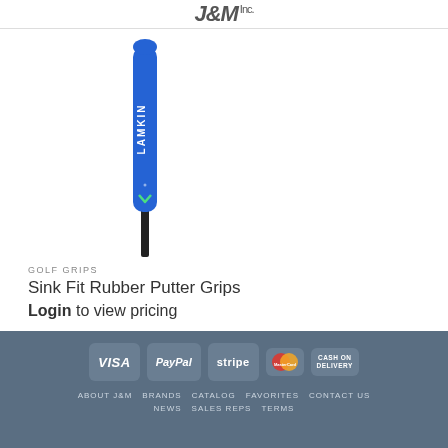J&M Inc.
[Figure (photo): Blue Lamkin golf putter grip standing vertically, narrow cylindrical shaft at bottom, branded with LAMKIN text and a small green chevron mark near the lower section.]
GOLF GRIPS
Sink Fit Rubber Putter Grips
Login to view pricing
VISA  PayPal  stripe  MasterCard  CASH ON DELIVERY  |  ABOUT J&M  BRANDS  CATALOG  FAVORITES  CONTACT US  NEWS  SALES REPS  TERMS